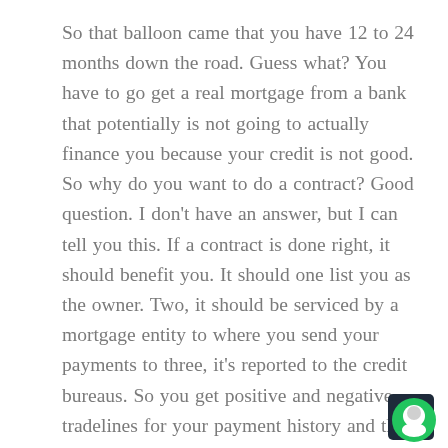So that balloon came that you have 12 to 24 months down the road. Guess what? You have to go get a real mortgage from a bank that potentially is not going to actually finance you because your credit is not good. So why do you want to do a contract? Good question. I don't have an answer, but I can tell you this. If a contract is done right, it should benefit you. It should one list you as the owner. Two, it should be serviced by a mortgage entity to where you send your payments to three, it's reported to the credit bureaus. So you get positive and negative tradelines for your payment history and the fourth, you should be able to write off the mortgage interest on that property when you're making those payments annually.
[Figure (other): Chat widget button in bottom-right corner: dark navy square with a green circular chat icon containing a white face/avatar symbol.]